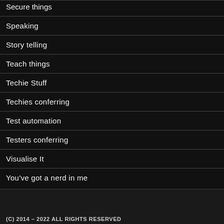Secure things
Speaking
Story telling
Teach things
Techie Stuff
Techies conferring
Test automation
Testers conferring
Visualise It
You've got a nerd in me
(C) 2014 – 2022 ALL RIGHTS RESERVED